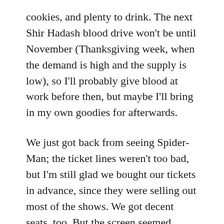cookies, and plenty to drink. The next Shir Hadash blood drive won't be until November (Thanksgiving week, when the demand is high and the supply is low), so I'll probably give blood at work before then, but maybe I'll bring in my own goodies for afterwards.
We just got back from seeing Spider-Man; the ticket lines weren't too bad, but I'm still glad we bought our tickets in advance, since they were selling out most of the shows. We got decent seats, too. But the screen seemed awfully small — I think I'll plan on braving the horrible parking at the Century complex on Winchester Boulevard so we can watch Episode II on a properly-sized big screen.
Oh, yeah...I should have said something about the movie, not just the theatre, shouldn't I? It was a